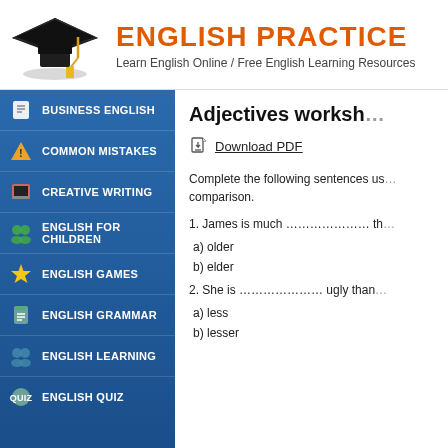[Figure (logo): Graduation cap icon for English Practice website]
ENGLISH PRACTICE
Learn English Online / Free English Learning Resources
BUSINESS ENGLISH
COMMON MISTAKES
CREATIVE WRITING
ENGLISH FOR CHILDREN
ENGLISH GAMES
ENGLISH GRAMMAR
ENGLISH LEARNING
ENGLISH QUIZ
Adjectives worksheet
Download PDF
Complete the following sentences using the correct form of comparison.
1. James is much ………………… tha
a) older
b) elder
2. She is ………………… ugly than
a) less
b) lesser